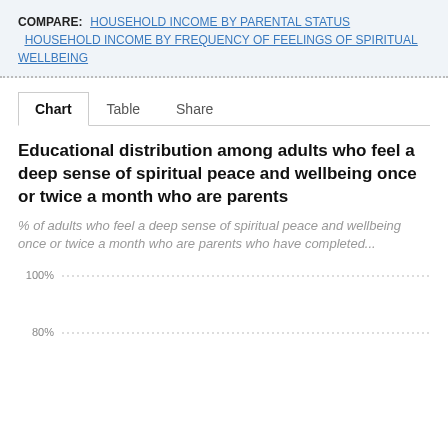COMPARE: HOUSEHOLD INCOME BY PARENTAL STATUS   HOUSEHOLD INCOME BY FREQUENCY OF FEELINGS OF SPIRITUAL WELLBEING
Chart | Table | Share
Educational distribution among adults who feel a deep sense of spiritual peace and wellbeing once or twice a month who are parents
% of adults who feel a deep sense of spiritual peace and wellbeing once or twice a month who are parents who have completed...
[Figure (line-chart): Partial line chart visible showing y-axis with 100% and 80% gridlines. Rest of chart is cut off.]